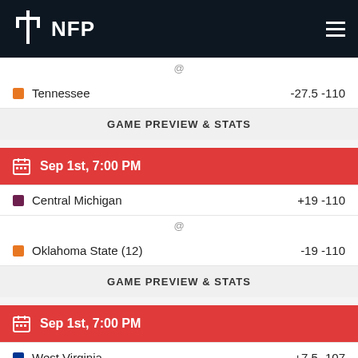NFP
Tennessee  -27.5 -110
GAME PREVIEW & STATS
Sep 1st, 7:00 PM
Central Michigan  +19 -110
Oklahoma State (12)  -19 -110
GAME PREVIEW & STATS
Sep 1st, 7:00 PM
West Virginia  +7.5 -107
Pittsburgh (17)  -7.5 -107